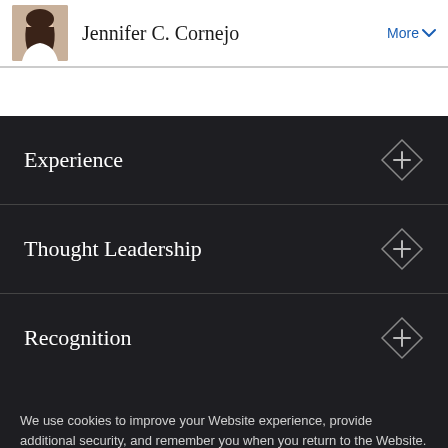[Figure (photo): Headshot photo of Jennifer C. Cornejo, a woman with long dark hair]
Jennifer C. Cornejo
More
Experience
Thought Leadership
Recognition
We use cookies to improve your Website experience, provide additional security, and remember you when you return to the Website. By continuing to use this Website, you agree to the use of cookies. See our Privacy Policy to learn more about how we use cookies. Privacy Policy
Cookies Settings
Accept